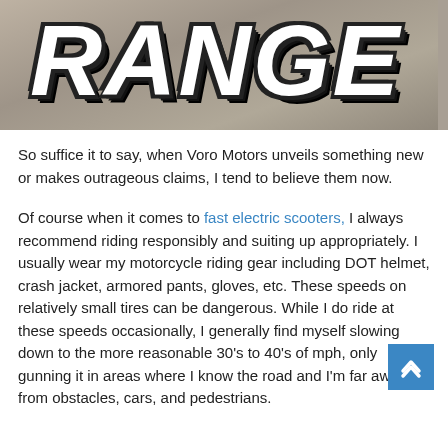[Figure (photo): Close-up photo of large white bold italic letters spelling 'RANGE' (partially visible) against a gray textured background, with thick black outline/shadow effect.]
So suffice it to say, when Voro Motors unveils something new or makes outrageous claims, I tend to believe them now.
Of course when it comes to fast electric scooters, I always recommend riding responsibly and suiting up appropriately. I usually wear my motorcycle riding gear including DOT helmet, crash jacket, armored pants, gloves, etc. These speeds on relatively small tires can be dangerous. While I do ride at these speeds occasionally, I generally find myself slowing down to the more reasonable 30's to 40's of mph, only gunning it in areas where I know the road and I'm far away from obstacles, cars, and pedestrians.